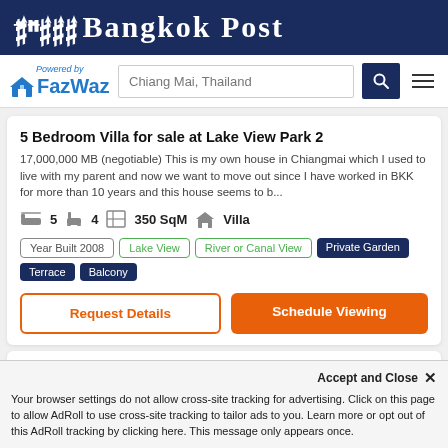Bangkok Post
[Figure (logo): FazWaz logo with 'Powered by' text and search bar with 'Chiang Mai, Thailand' placeholder, search button, and hamburger menu]
5 Bedroom Villa for sale at Lake View Park 2
17,000,000 MB (negotiable) This is my own house in Chiangmai which I used to live with my parent and now we want to move out since I have worked in BKK for more than 10 years and this house seems to b...
5  4  350 SqM  Villa
Year Built 2008  Lake View  River or Canal View  Private Garden  Terrace  Balcony
Request Details
Schedule Viewing
Stunning Property for Sale right on a Lake in Maer...
Accept and Close ✕
Your browser settings do not allow cross-site tracking for advertising. Click on this page to allow AdRoll to use cross-site tracking to tailor ads to you. Learn more or opt out of this AdRoll tracking by clicking here. This message only appears once.